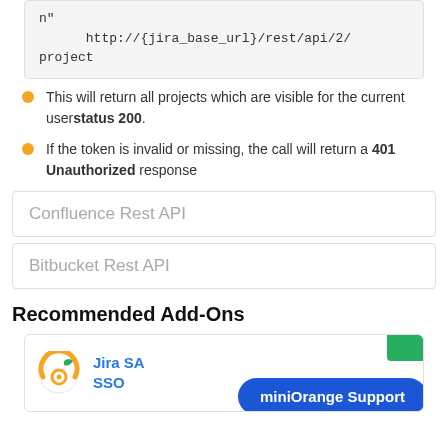n"
      http://{jira_base_url}/rest/api/2/project
This will return all projects which are visible for the current user status 200.
If the token is invalid or missing, the call will return a 401 Unauthorized response
Confluence Rest API
Bitbucket Rest API
Recommended Add-Ons
[Figure (logo): Jira SAML SSO logo with miniOrange Support button overlay]